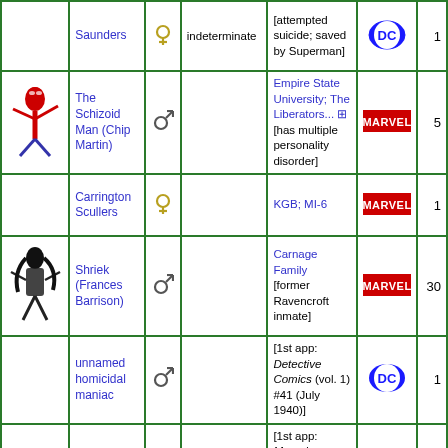| Image | Character | Gender | Alter ego/notes | Notes2 | Publisher | Count |
| --- | --- | --- | --- | --- | --- | --- |
|  | Saunders | female | indeterminate | [attempted suicide; saved by Superman] | DC | 1 |
| (spider image) | The Schizoid Man (Chip Martin) | male |  | Empire State University; The Liberators... [has multiple personality disorder] | Marvel | 5 |
|  | Carrington Scullers | female |  | KGB; MI-6 | Marvel | 1 |
| (shriek image) | Shriek (Frances Barrison) | male |  | Carnage Family [former Ravencroft inmate] | Marvel | 30 |
|  | unnamed homicidal maniac | male |  | [1st app: Detective Comics (vol. 1) #41 (July 1940)] | DC | 1 |
|  | Ramon Valerez | male |  | [1st app: Marvel Mystery Comics #23 (Sep. 1941)] | Marvel | 1 |
|  | Wolverina | male | M obsessed with Wolverine | [1st app: Carnage: It's a Wonderful Life #1 | Marvel | 1 |